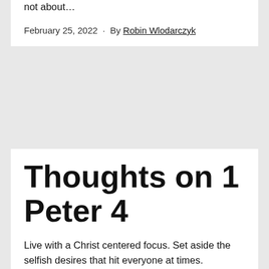not about…
February 25, 2022 · By Robin Wlodarczyk
Thoughts on 1 Peter 4
Live with a Christ centered focus. Set aside the selfish desires that hit everyone at times. Oneness with God is more than a heart change, it is lived out